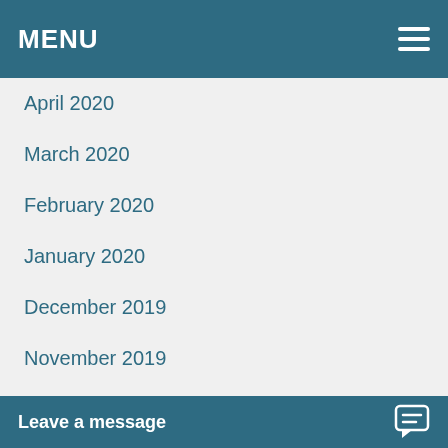MENU
April 2020
March 2020
February 2020
January 2020
December 2019
November 2019
October 2019
September 2019
August 2019
July 2019
June 2019
May 2019
Leave a message